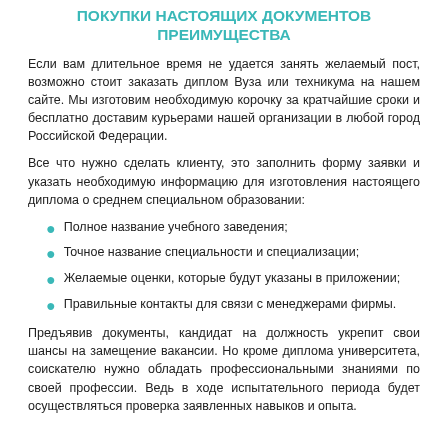ПОКУПКИ НАСТОЯЩИХ ДОКУМЕНТОВ ПРЕИМУЩЕСТВА
Если вам длительное время не удается занять желаемый пост, возможно стоит заказать диплом Вуза или техникума на нашем сайте. Мы изготовим необходимую корочку за кратчайшие сроки и бесплатно доставим курьерами нашей организации в любой город Российской Федерации.
Все что нужно сделать клиенту, это заполнить форму заявки и указать необходимую информацию для изготовления настоящего диплома о среднем специальном образовании:
Полное название учебного заведения;
Точное название специальности и специализации;
Желаемые оценки, которые будут указаны в приложении;
Правильные контакты для связи с менеджерами фирмы.
Предъявив документы, кандидат на должность укрепит свои шансы на замещение вакансии. Но кроме диплома университета, соискателю нужно обладать профессиональными знаниями по своей профессии. Ведь в ходе испытательного периода будет осуществляться проверка заявленных навыков и опыта.